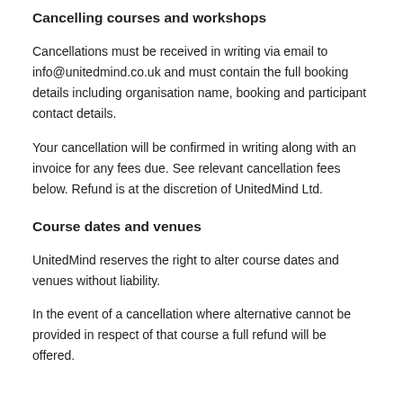Cancelling courses and workshops
Cancellations must be received in writing via email to info@unitedmind.co.uk and must contain the full booking details including organisation name, booking and participant contact details.
Your cancellation will be confirmed in writing along with an invoice for any fees due. See relevant cancellation fees below. Refund is at the discretion of UnitedMind Ltd.
Course dates and venues
UnitedMind reserves the right to alter course dates and venues without liability.
In the event of a cancellation where alternative cannot be provided in respect of that course a full refund will be offered.